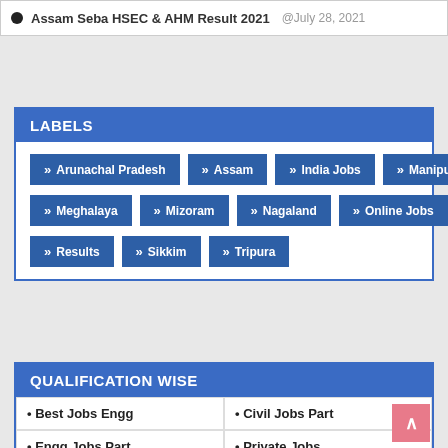Assam Seba HSEC & AHM Result 2021  @July 28, 2021
LABELS
Arunachal Pradesh
Assam
India Jobs
Manipur
Meghalaya
Mizoram
Nagaland
Online Jobs
Results
Sikkim
Tripura
QUALIFICATION WISE
| • Best Jobs Engg | • Civil Jobs Part |
| • Engg Jobs Part | • Private Jobs |
| • Teacher Jobs Test | • 8th Passed Jobs |
| • … | • … |